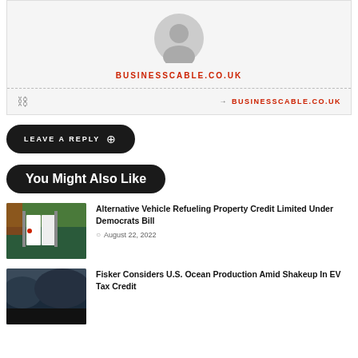[Figure (illustration): Grey circular avatar/profile placeholder icon on light grey background]
BUSINESSCABLE.CO.UK
→ BUSINESSCABLE.CO.UK
LEAVE A REPLY
You Might Also Like
[Figure (photo): Tesla supercharger station with trees in background]
Alternative Vehicle Refueling Property Credit Limited Under Democrats Bill
August 22, 2022
[Figure (photo): Dark mountain landscape photo]
Fisker Considers U.S. Ocean Production Amid Shakeup In EV Tax Credit